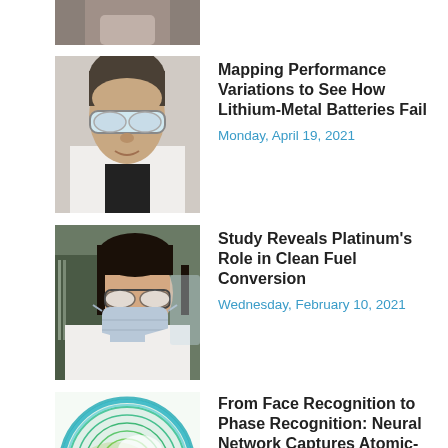[Figure (photo): Partial photo of a researcher (cropped at top)]
[Figure (photo): Male scientist wearing safety goggles and white lab coat]
Mapping Performance Variations to See How Lithium-Metal Batteries Fail
Monday, April 19, 2021
[Figure (photo): Female scientist wearing glasses, face mask, and white lab coat]
Study Reveals Platinum's Role in Clean Fuel Conversion
Wednesday, February 10, 2021
[Figure (other): Circular phase recognition diagram with heat map overlay showing green contour lines and red/dark center region]
From Face Recognition to Phase Recognition: Neural Network Captures Atomic-Scale Rearrangements
Thursday, May 31, 2018
[Figure (photo): Partial photo of a research subject (dark background with glowing elements, cropped)]
Research Center Established to Explore the Last Uncharted Land...